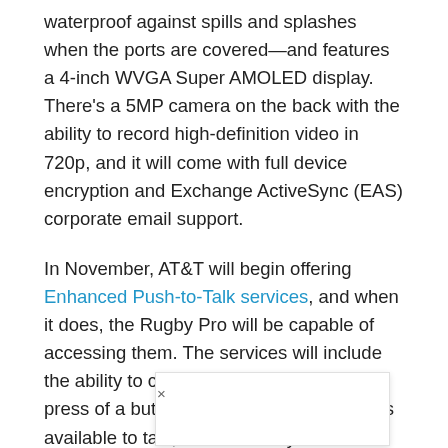waterproof against spills and splashes when the ports are covered—and features a 4-inch WVGA Super AMOLED display. There's a 5MP camera on the back with the ability to record high-definition video in 720p, and it will come with full device encryption and Exchange ActiveSync (EAS) corporate email support.
In November, AT&T will begin offering Enhanced Push-to-Talk services, and when it does, the Rugby Pro will be capable of accessing them. The services will include the ability to call up to 250 people with the press of a button, a real-time view of who's available to talk, and the ability for supervisors to override PTT calls in progress to convey urgent news.
Earlier this month Samsung introduced the Galaxy Note II—a tablet-lik [overlay] rsion of Sams [overlay] ill arrive